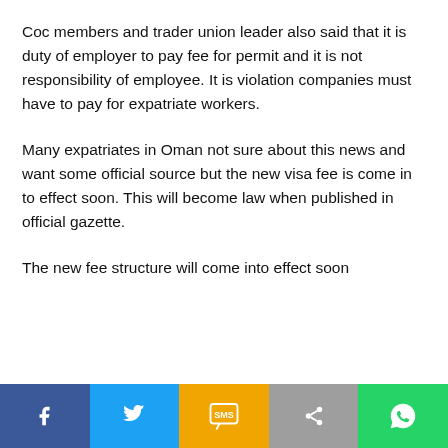Coc members and trader union leader also said that it is duty of employer to pay fee for permit and it is not responsibility of employee. It is violation companies must have to pay for expatriate workers.
Many expatriates in Oman not sure about this news and want some official source but the new visa fee is come in to effect soon. This will become law when published in official gazette.
The new fee structure will come into effect soon